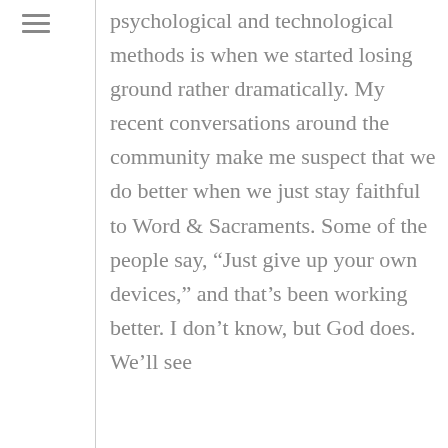psychological and technological methods is when we started losing ground rather dramatically. My recent conversations around the community make me suspect that we do better when we just stay faithful to Word & Sacraments. Some of the people say, “Just give up your own devices,” and that’s been working better. I don’t know, but God does. We’ll see